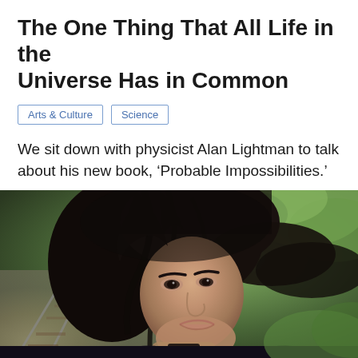The One Thing That All Life in the Universe Has in Common
Arts & Culture
Science
We sit down with physicist Alan Lightman to talk about his new book, ‘Probable Impossibilities.’
[Figure (photo): Young woman with long dark hair resting her chin on her hand, looking contemplative, with a blurred outdoor background showing railway tracks and green foliage.]